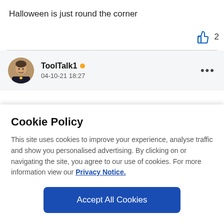Halloween is just round the corner
[Figure (infographic): Thumbs up like icon in blue with count of 2]
[Figure (photo): Circular avatar photo of ToolTalk1 user showing a man in formal attire]
ToolTalk1 • 04-10-21 18:27
Cookie Policy
This site uses cookies to improve your experience, analyse traffic and show you personalised advertising. By clicking on or navigating the site, you agree to our use of cookies. For more information view our Privacy Notice.
Accept All Cookies